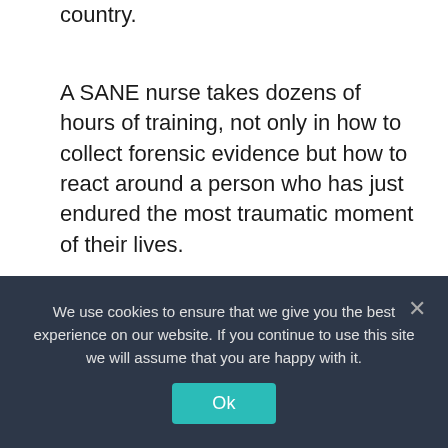country.
A SANE nurse takes dozens of hours of training, not only in how to collect forensic evidence but how to react around a person who has just endured the most traumatic moment of their lives.
Assistant District Attorney Alicia Flowers said she prosecutes cold-case rapes, and it’s essential to cases to have a qualified SANE nurse helping victims.
We use cookies to ensure that we give you the best experience on our website. If you continue to use this site we will assume that you are happy with it.